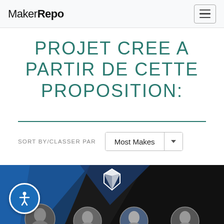MakerRepo
PROJET CREE A PARTIR DE CETTE PROPOSITION:
SORT BY/CLASSER PAR   Most Makes
[Figure (photo): A dark image with geometric blue and black angular shapes. A diamond/gem icon in white is visible at the top center. At the bottom, several circular portrait thumbnails of people are partially visible.]